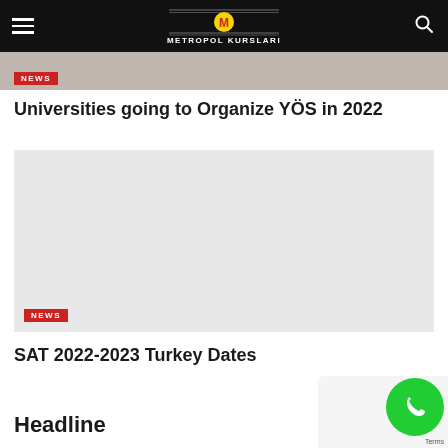METROPOL KURSLARI
[Figure (photo): Partially visible photo of person at laptop with NEWS badge overlay]
Universities going to Organize YÖS in 2022
[Figure (photo): Light gray placeholder image with NEWS badge at bottom left]
SAT 2022-2023 Turkey Dates
Headline